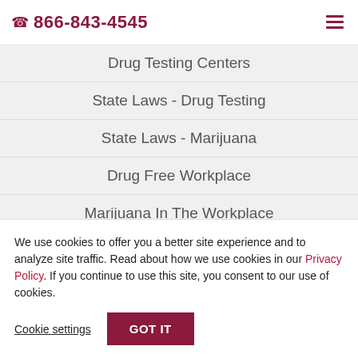📞 866-843-4545
Drug Testing Centers
State Laws - Drug Testing
State Laws - Marijuana
Drug Free Workplace
Marijuana In The Workplace
NDS Blog
News & Events
We use cookies to offer you a better site experience and to analyze site traffic. Read about how we use cookies in our Privacy Policy. If you continue to use this site, you consent to our use of cookies.
Cookie settings  GOT IT